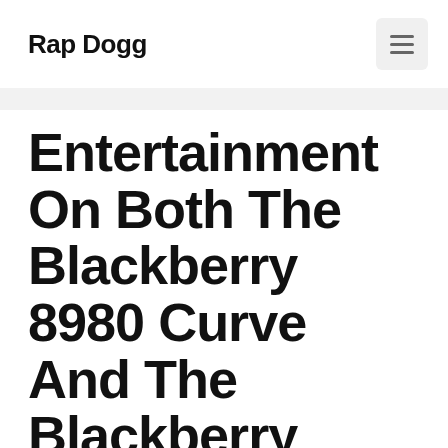Rap Dogg
Entertainment On Both The Blackberry 8980 Curve And The Blackberry Torch
May 30, 2022 by Harvey